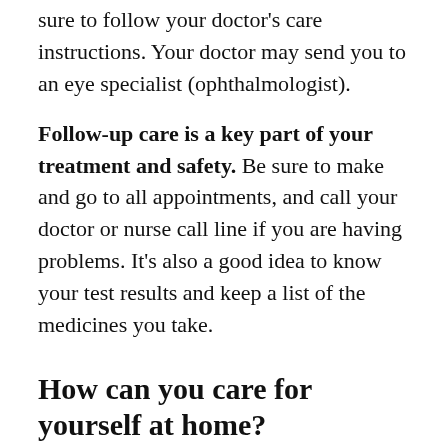sure to follow your doctor's care instructions. Your doctor may send you to an eye specialist (ophthalmologist).
Follow-up care is a key part of your treatment and safety. Be sure to make and go to all appointments, and call your doctor or nurse call line if you are having problems. It's also a good idea to know your test results and keep a list of the medicines you take.
How can you care for yourself at home?
Use the prescribed eyedrops or ointment as directed. At first, this may be every 1 to 2